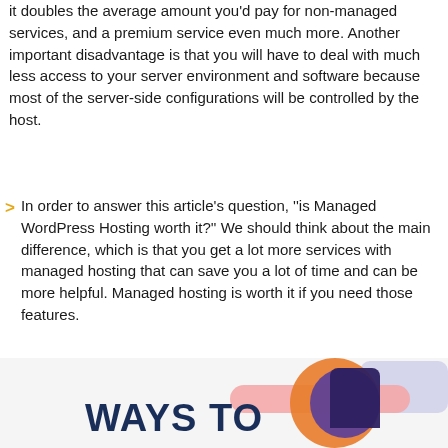it doubles the average amount you'd pay for non-managed services, and a premium service even much more. Another important disadvantage is that you will have to deal with much less access to your server environment and software because most of the server-side configurations will be controlled by the host.
In order to answer this article's question, ''is Managed WordPress Hosting worth it?'' We should think about the main difference, which is that you get a lot more services with managed hosting that can save you a lot of time and can be more helpful. Managed hosting is worth it if you need those features.
October 11, 2021 / by Roni Kripper
[Figure (illustration): Partial illustration showing 'WAYS TO' text in dark blue with a colorful graphic element including pink, orange, purple shapes suggesting a tech/web article image.]